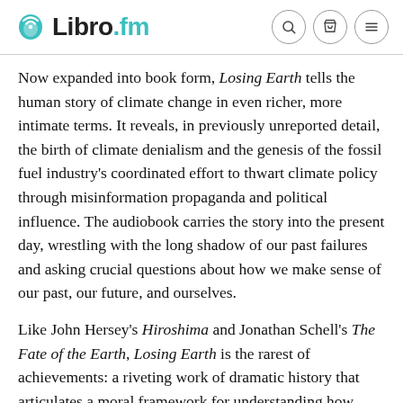Libro.fm
Now expanded into book form, Losing Earth tells the human story of climate change in even richer, more intimate terms. It reveals, in previously unreported detail, the birth of climate denialism and the genesis of the fossil fuel industry's coordinated effort to thwart climate policy through misinformation propaganda and political influence. The audiobook carries the story into the present day, wrestling with the long shadow of our past failures and asking crucial questions about how we make sense of our past, our future, and ourselves.
Like John Hersey's Hiroshima and Jonathan Schell's The Fate of the Earth, Losing Earth is the rarest of achievements: a riveting work of dramatic history that articulates a moral framework for understanding how